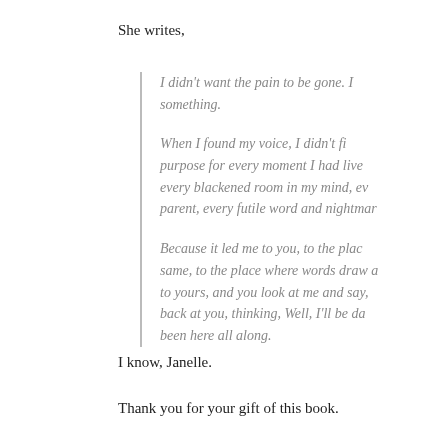She writes,
I didn't want the pain to be gone. I something.

When I found my voice, I didn't fi purpose for every moment I had live every blackened room in my mind, ev parent, every futile word and nightmar

Because it led me to you, to the plac same, to the place where words draw a to yours, and you look at me and say, back at you, thinking, Well, I'll be da been here all along.
I know, Janelle.
Thank you for your gift of this book.